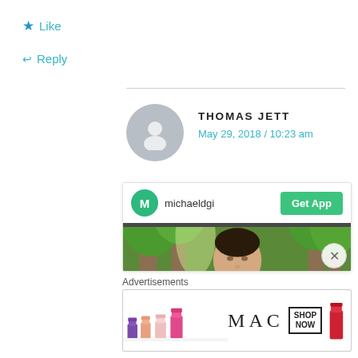★ Like
↩ Reply
THOMAS JETT
May 29, 2018 / 10:23 am
[Figure (screenshot): Embedded social media card with user 'michaeldgi', a Get App button, and a video thumbnail showing a person outdoors among trees]
Advertisements
[Figure (photo): MAC Cosmetics advertisement banner showing colorful lipsticks on the left and right, MAC logo in center with SHOP NOW text box]